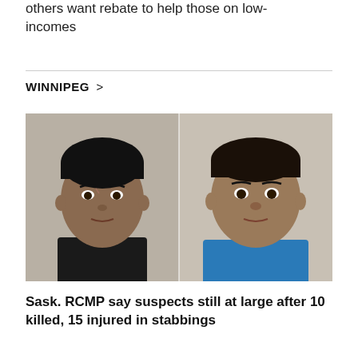others want rebate to help those on low-incomes
WINNIPEG >
[Figure (photo): Side-by-side mugshot photos of two male suspects. Left: young man with short black hair and dark complexion wearing a dark shirt, against a light institutional wall. Right: slightly older man with short dark hair wearing a blue t-shirt, against a light background.]
Sask. RCMP say suspects still at large after 10 killed, 15 injured in stabbings